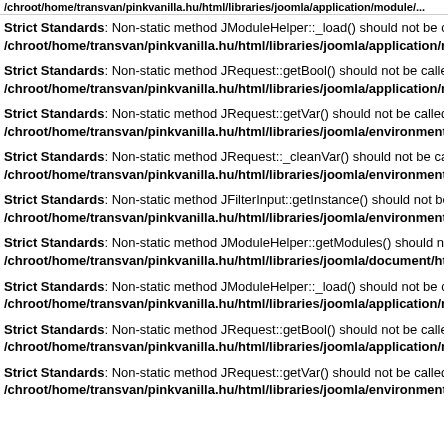/chroot/home/transvan/pinkvanilla.hu/html/libraries/joomla/application/module/...
Strict Standards: Non-static method JModuleHelper::_load() should not be called st
/chroot/home/transvan/pinkvanilla.hu/html/libraries/joomla/application/module/
Strict Standards: Non-static method JRequest::getBool() should not be called static
/chroot/home/transvan/pinkvanilla.hu/html/libraries/joomla/application/module/
Strict Standards: Non-static method JRequest::getVar() should not be called statica
/chroot/home/transvan/pinkvanilla.hu/html/libraries/joomla/environment/reques
Strict Standards: Non-static method JRequest::_cleanVar() should not be called sta
/chroot/home/transvan/pinkvanilla.hu/html/libraries/joomla/environment/reques
Strict Standards: Non-static method JFilterInput::getInstance() should not be called
/chroot/home/transvan/pinkvanilla.hu/html/libraries/joomla/environment/reques
Strict Standards: Non-static method JModuleHelper::getModules() should not be ca
/chroot/home/transvan/pinkvanilla.hu/html/libraries/joomla/document/html/htm
Strict Standards: Non-static method JModuleHelper::_load() should not be called st
/chroot/home/transvan/pinkvanilla.hu/html/libraries/joomla/application/module/
Strict Standards: Non-static method JRequest::getBool() should not be called static
/chroot/home/transvan/pinkvanilla.hu/html/libraries/joomla/application/module/
Strict Standards: Non-static method JRequest::getVar() should not be called statica
/chroot/home/transvan/pinkvanilla.hu/html/libraries/joomla/environment/reques